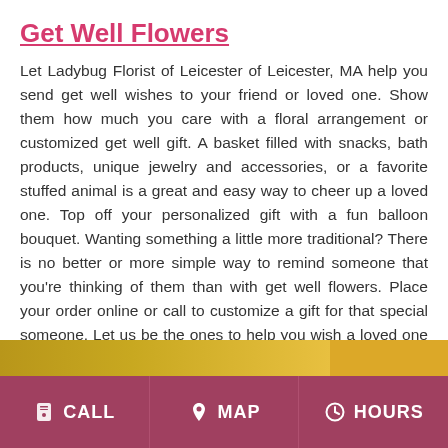Get Well Flowers
Let Ladybug Florist of Leicester of Leicester, MA help you send get well wishes to your friend or loved one. Show them how much you care with a floral arrangement or customized get well gift. A basket filled with snacks, bath products, unique jewelry and accessories, or a favorite stuffed animal is a great and easy way to cheer up a loved one. Top off your personalized gift with a fun balloon bouquet. Wanting something a little more traditional? There is no better or more simple way to remind someone that you're thinking of them than with get well flowers. Place your order online or call to customize a gift for that special someone. Let us be the ones to help you wish a loved one "get well soon."
CALL  MAP  HOURS